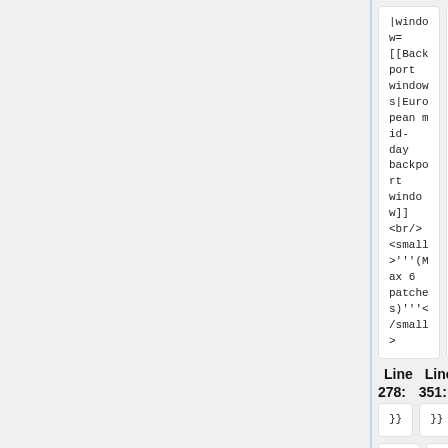|window=
[[Backport windows|European mid-day backport window]]
<br/>
<small>'''(Max 6 patches)'''</small>
|window=
[[Backport windows|European mid-day backport window]]
<br/>
<small>'''(Max 6 patches)'''</small>
Line 278:
Line 351:
}}
}}
{{Deployment calendar event card
{{Deployment calendar event card